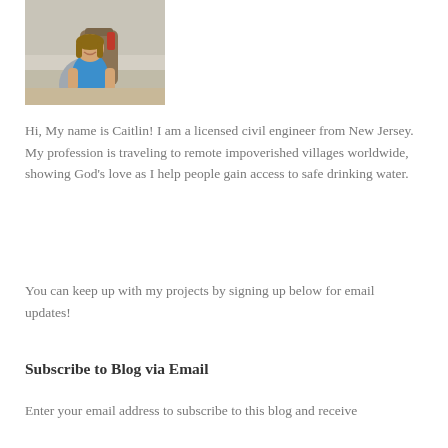[Figure (photo): A smiling young woman with a large backpack hiking outdoors, wearing a blue shirt.]
Hi, My name is Caitlin! I am a licensed civil engineer from New Jersey. My profession is traveling to remote impoverished villages worldwide, showing God's love as I help people gain access to safe drinking water.
You can keep up with my projects by signing up below for email updates!
Subscribe to Blog via Email
Enter your email address to subscribe to this blog and receive notifications of new posts by email.